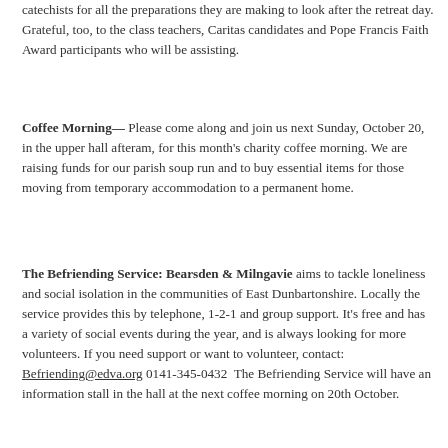catechists for all the preparations they are making to look after the retreat day. Grateful, too, to the class teachers, Caritas candidates and Pope Francis Faith Award participants who will be assisting.
Coffee Morning— Please come along and join us next Sunday, October 20, in the upper hall afteram, for this month's charity coffee morning. We are raising funds for our parish soup run and to buy essential items for those moving from temporary accommodation to a permanent home.
The Befriending Service: Bearsden & Milngavie aims to tackle loneliness and social isolation in the communities of East Dunbartonshire. Locally the service provides this by telephone, 1-2-1 and group support. It's free and has a variety of social events during the year, and is always looking for more volunteers. If you need support or want to volunteer, contact: Befriending@edva.org 0141-345-0432  The Befriending Service will have an information stall in the hall at the next coffee morning on 20th October.